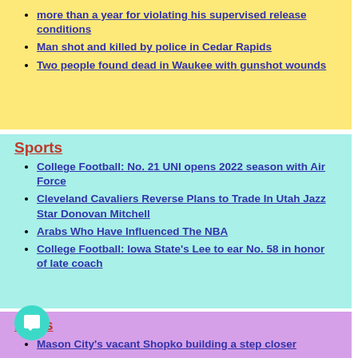more than a year for violating his supervised release conditions
Man shot and killed by police in Cedar Rapids
Two people found dead in Waukee with gunshot wounds
Sports
College Football: No. 21 UNI opens 2022 season with Air Force
Cleveland Cavaliers Reverse Plans to Trade In Utah Jazz Star Donovan Mitchell
Arabs Who Have Influenced The NBA
College Football: Iowa State's Lee to ear No. 58 in honor of late coach
iness
Mason City's vacant Shopko building a step closer